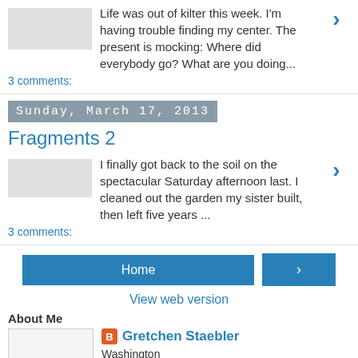Life was out of kilter this week. I'm having trouble finding my center. The present is mocking: Where did everybody go? What are you doing...
3 comments:
Sunday, March 17, 2013
Fragments 2
I finally got back to the soil on the spectacular Saturday afternoon last. I cleaned out the garden my sister built, then left five years ...
3 comments:
Home
View web version
About Me
Gretchen Staebler
Washington
At the end of Lent 2007, on my own in North